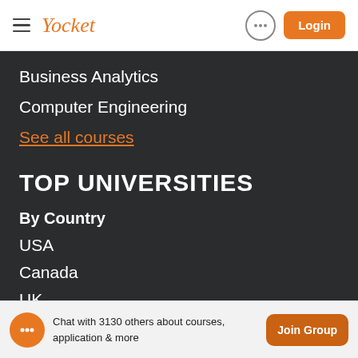Yocket | Login
Business Analytics
Computer Engineering
See all courses
TOP UNIVERSITIES
By Country
USA
Canada
UK
Australia
Chat with 3130 others about courses, application & more | Join Group